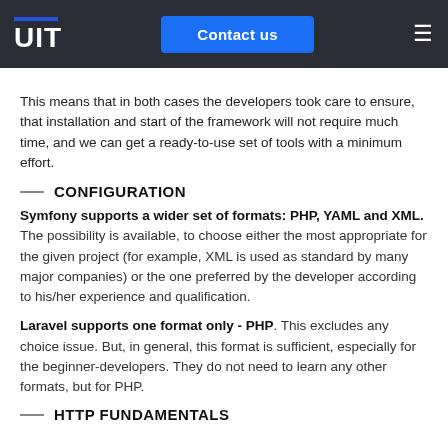UIT — Contact us
This means that in both cases the developers took care to ensure, that installation and start of the framework will not require much time, and we can get a ready-to-use set of tools with a minimum effort.
CONFIGURATION
Symfony supports a wider set of formats: PHP, YAML and XML. The possibility is available, to choose either the most appropriate for the given project (for example, XML is used as standard by many major companies) or the one preferred by the developer according to his/her experience and qualification.
Laravel supports one format only - PHP. This excludes any choice issue. But, in general, this format is sufficient, especially for the beginner-developers. They do not need to learn any other formats, but for PHP.
HTTP FUNDAMENTALS